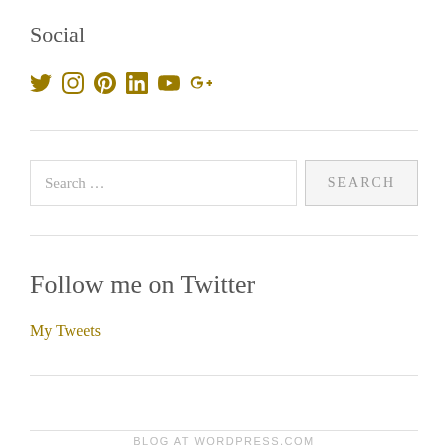Social
[Figure (infographic): Row of social media icons: Twitter, Instagram, Pinterest, LinkedIn, YouTube, Google+]
Search …
Follow me on Twitter
My Tweets
BLOG AT WORDPRESS.COM